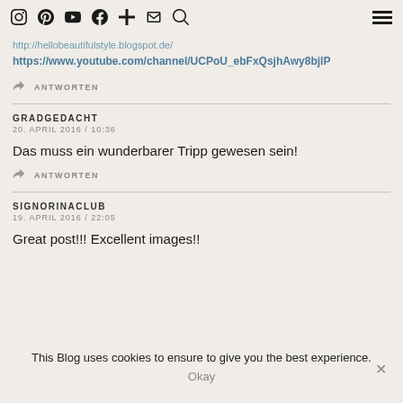Social media icons and hamburger menu
http://hellobeautifulstyle.blogspot.de/
https://www.youtube.com/channel/UCPoU_ebFxQsjhAwy8bjlP
ANTWORTEN
GRADGEDACHT
20. APRIL 2016 / 10:36
Das muss ein wunderbarer Tripp gewesen sein!
ANTWORTEN
SIGNORINACLUB
19. APRIL 2016 / 22:05
Great post!!! Excellent images!!
This Blog uses cookies to ensure to give you the best experience.
Okay